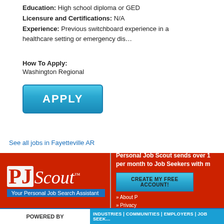Education: High school diploma or GED
Licensure and Certifications: N/A
Experience: Previous switchboard experience in a healthcare setting or emergency dis...
How To Apply:
Washington Regional
[Figure (other): Blue APPLY button]
See all jobs in Fayetteville AR
[Figure (other): PJScout - Personal Job Scout banner advertisement. Text: Personal Job Scout sends over 1 per month to Job Seekers with m. Your Personal Job Search Assistant. CREATE MY FREE ACCOUNT! About P. Privacy]
POWERED BY
INDUSTRIES | COMMUNITIES | EMPLOYERS | JOB SEEK...